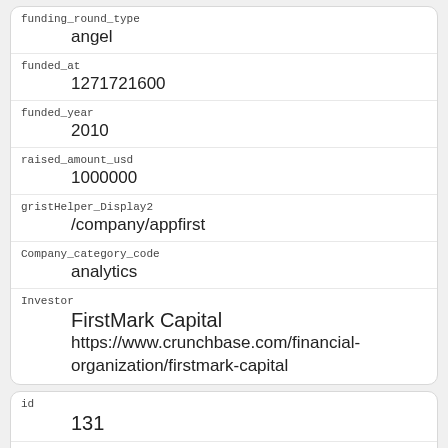| funding_round_type | angel |
| funded_at | 1271721600 |
| funded_year | 2010 |
| raised_amount_usd | 1000000 |
| gristHelper_Display2 | /company/appfirst |
| Company_category_code | analytics |
| Investor | FirstMark Capital
https://www.crunchbase.com/financial-organization/firstmark-capital |
| id | 131 |
| manualSort | 131 |